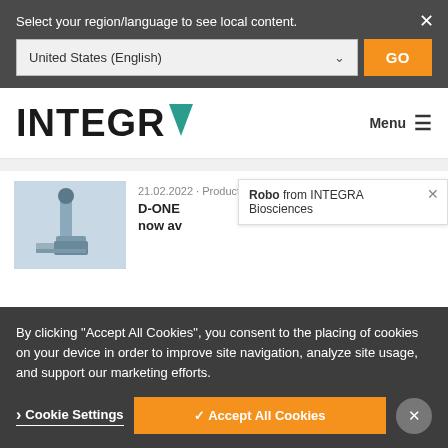Select your region/language to see local content.
United States (English)
GO
[Figure (logo): INTEGRA logo with teal A letter]
Menu ≡
21.02.2022 · Product News
D-ONE
Robo from INTEGRA Biosciences
now av
By clicking "Accept All Cookies", you consent to the placing of cookies on your device in order to improve site navigation, analyze site usage, and support our marketing efforts.
› Cookie Settings
✓ Accept All Cookies